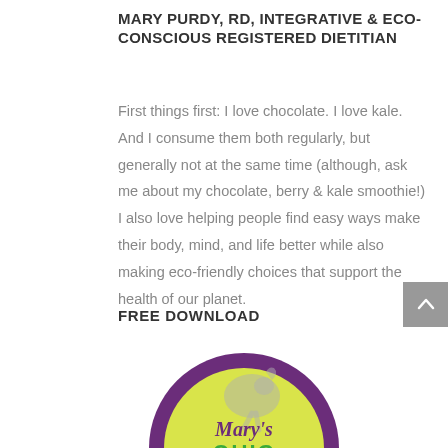MARY PURDY, RD, INTEGRATIVE & ECO-CONSCIOUS REGISTERED DIETITIAN
First things first: I love chocolate. I love kale. And I consume them both regularly, but generally not at the same time (although, ask me about my chocolate, berry & kale smoothie!) I also love helping people find easy ways make their body, mind, and life better while also making eco-friendly choices that support the health of our planet.
FREE DOWNLOAD
[Figure (logo): Mary's Quick [partially visible circular logo with yellow background and purple border, with stylized chicken/bird watermark]]